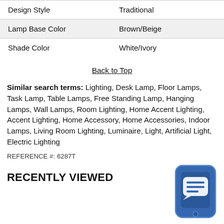|  |  |
| --- | --- |
| Design Style | Traditional |
| Lamp Base Color | Brown/Beige |
| Shade Color | White/Ivory |
Back to Top
Similar search terms: Lighting, Desk Lamp, Floor Lamps, Task Lamp, Table Lamps, Free Standing Lamp, Hanging Lamps, Wall Lamps, Room Lighting, Home Accent Lighting, Accent Lighting, Home Accessory, Home Accessories, Indoor Lamps, Living Room Lighting, Luminaire, Light, Artificial Light, Electric Lighting
REFERENCE #: 6287T
RECENTLY VIEWED
[Figure (illustration): Blue smartphone icon with chat/message bubble icon on its screen]